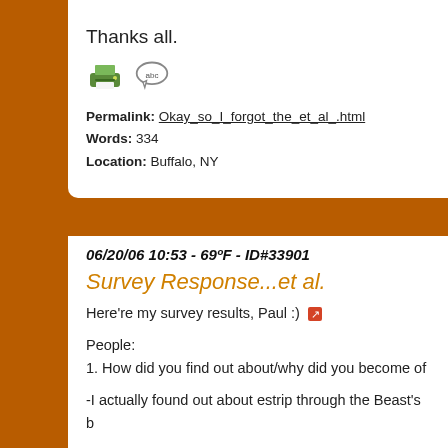Thanks all.
[Figure (illustration): Printer icon and speech bubble with 'abc' text icon]
Permalink: Okay_so_I_forgot_the_et_al_.html
Words: 334
Location: Buffalo, NY
06/20/06 10:53 - 69ºF - ID#33901
Survey Response...et al.
Here're my survey results, Paul :)
People:
1. How did you find out about/why did you become of
-I actually found out about estrip through the Beast's b of f t th l hi At i l ith /t